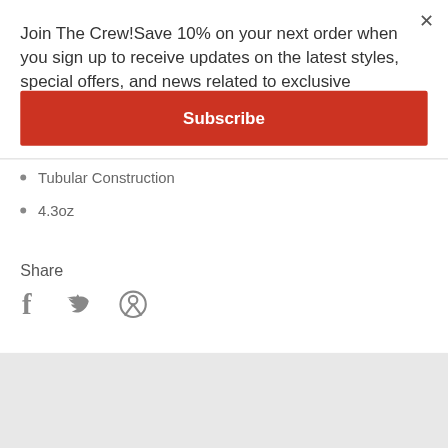Join The Crew!Save 10% on your next order when you sign up to receive updates on the latest styles, special offers, and news related to exclusive MasterCraft apparel.
Subscribe
Tubular Construction
4.3oz
Share